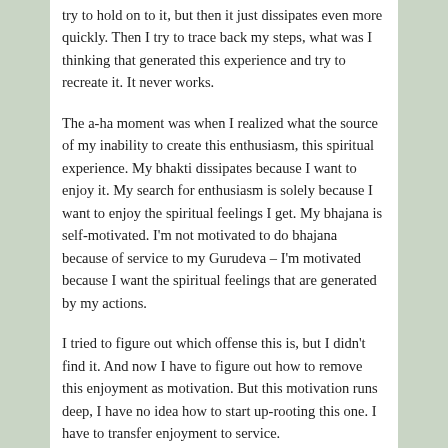try to hold on to it, but then it just dissipates even more quickly. Then I try to trace back my steps, what was I thinking that generated this experience and try to recreate it. It never works.
The a-ha moment was when I realized what the source of my inability to create this enthusiasm, this spiritual experience. My bhakti dissipates because I want to enjoy it. My search for enthusiasm is solely because I want to enjoy the spiritual feelings I get. My bhajana is self-motivated. I'm not motivated to do bhajana because of service to my Gurudeva – I'm motivated because I want the spiritual feelings that are generated by my actions.
I tried to figure out which offense this is, but I didn't find it. And now I have to figure out how to remove this enjoyment as motivation. But this motivation runs deep, I have no idea how to start up-rooting this one. I have to transfer enjoyment to service.
Easy peacy right? Yeah… that's done in a day…